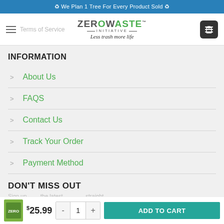♻ We Plan 1 Tree For Every Product Sold ♻
[Figure (logo): ZeroWaste Initiative logo with tagline 'Less trash more life']
Terms of Service
INFORMATION
About Us
FAQS
Contact Us
Track Your Order
Payment Method
DON'T MISS OUT
Sign up ... the latest ... straight
$25.99  -  1  +  ADD TO CART